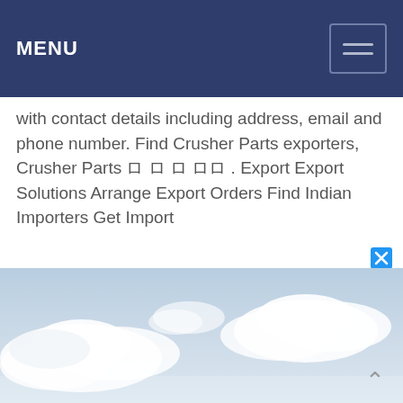MENU
with contact details including address, email and phone number. Find Crusher Parts exporters, Crusher Parts ロ ロ ロ ロロ . Export Export Solutions Arrange Export Orders Find Indian Importers Get Import
Learn More
[Figure (photo): Sky with clouds photograph, light blue sky with white clouds]